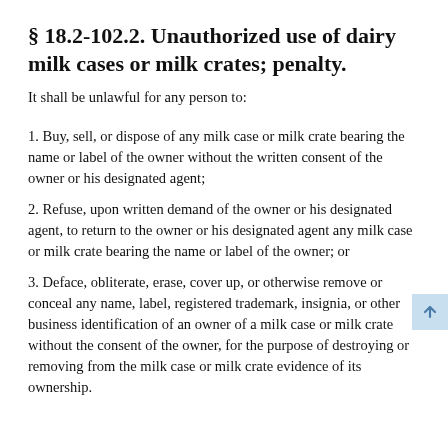§ 18.2-102.2. Unauthorized use of dairy milk cases or milk crates; penalty.
It shall be unlawful for any person to:
1. Buy, sell, or dispose of any milk case or milk crate bearing the name or label of the owner without the written consent of the owner or his designated agent;
2. Refuse, upon written demand of the owner or his designated agent, to return to the owner or his designated agent any milk case or milk crate bearing the name or label of the owner; or
3. Deface, obliterate, erase, cover up, or otherwise remove or conceal any name, label, registered trademark, insignia, or other business identification of an owner of a milk case or milk crate without the consent of the owner, for the purpose of destroying or removing from the milk case or milk crate evidence of its ownership.